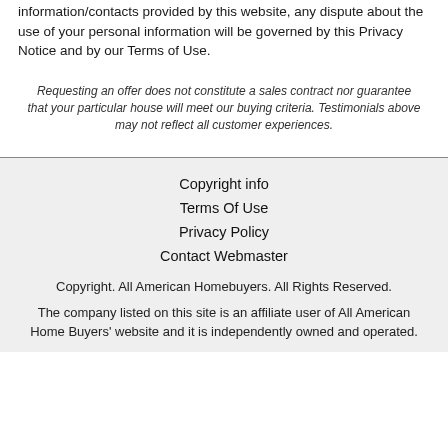information/contacts provided by this website, any dispute about the use of your personal information will be governed by this Privacy Notice and by our Terms of Use.
Requesting an offer does not constitute a sales contract nor guarantee that your particular house will meet our buying criteria. Testimonials above may not reflect all customer experiences.
Copyright info
Terms Of Use
Privacy Policy
Contact Webmaster
Copyright. All American Homebuyers. All Rights Reserved.
The company listed on this site is an affiliate user of All American Home Buyers' website and it is independently owned and operated.